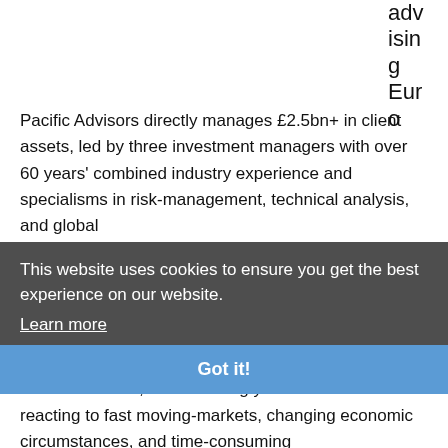advising Euro
Pacific Advisors directly manages £2.5bn+ in client assets, led by three investment managers with over 60 years' combined industry experience and specialisms in risk-management, technical analysis, and global
This website uses cookies to ensure you get the best experience on our website.
Learn more
Got it!
to-day investment decisions are delegated to Euro Pacific Advisors, thus relieving you of the burden of reacting to fast moving-markets, changing economic circumstances, and time-consuming